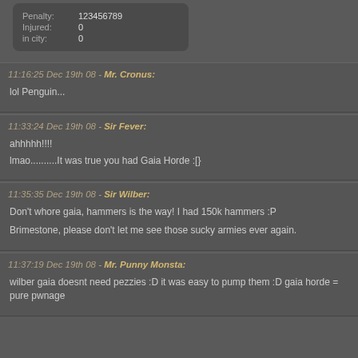Penalty: 123456789 | Injured: 0 | in city: 0
11:16:25 Dec 19th 08 - Mr. Cronus: lol Penguin...
11:33:24 Dec 19th 08 - Sir Fever: ahhhhh!!!! lmao..........It was true you had Gaia Horde :[}
11:35:35 Dec 19th 08 - Sir Wilber: Don't whore gaia, hammers is the way! I had 150k hammers :P Brimestone, please don't let me see those sucky armies ever again.
11:37:19 Dec 19th 08 - Mr. Punny Monsta: wilber gaia doesnt need pezzies :D it was easy to pump them :D gaia horde = pure pwnage